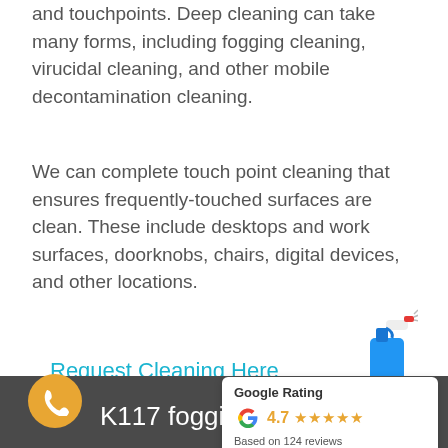and touchpoints. Deep cleaning can take many forms, including fogging cleaning, virucidal cleaning, and other mobile decontamination cleaning.
We can complete touch point cleaning that ensures frequently-touched surfaces are clean. These include desktops and work surfaces, doorknobs, chairs, digital devices, and other locations.
Request Cleaning Here
[Figure (illustration): Blue spray bottle with red/white spray nozzle]
[Figure (infographic): Google Rating badge showing 4.7 stars based on 124 reviews]
[Figure (illustration): Orange circular phone call button icon]
K117 fogging cleaning and